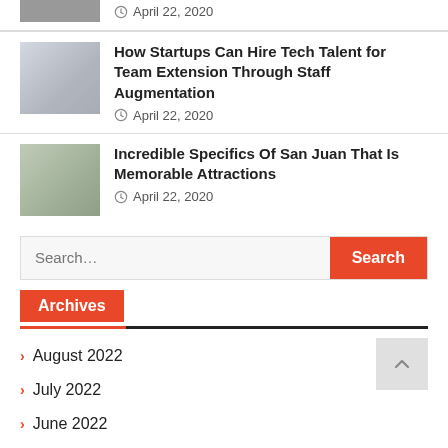[Figure (photo): Partial cropped photo at top, person at desk]
April 22, 2020
[Figure (photo): Person working on laptop]
How Startups Can Hire Tech Talent for Team Extension Through Staff Augmentation
April 22, 2020
[Figure (photo): Person sitting outdoors by water with laptop]
Incredible Specifics Of San Juan That Is Memorable Attractions
April 22, 2020
Search…
Archives
August 2022
July 2022
June 2022
May 2022